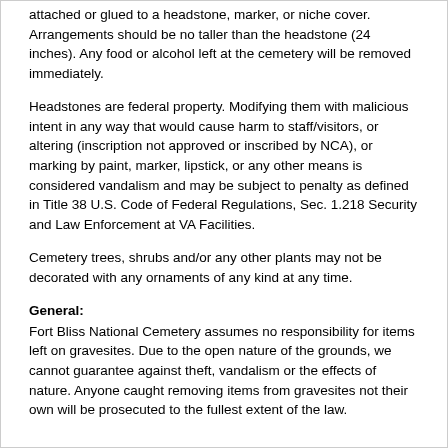attached or glued to a headstone, marker, or niche cover. Arrangements should be no taller than the headstone (24 inches). Any food or alcohol left at the cemetery will be removed immediately.
Headstones are federal property. Modifying them with malicious intent in any way that would cause harm to staff/visitors, or altering (inscription not approved or inscribed by NCA), or marking by paint, marker, lipstick, or any other means is considered vandalism and may be subject to penalty as defined in Title 38 U.S. Code of Federal Regulations, Sec. 1.218 Security and Law Enforcement at VA Facilities.
Cemetery trees, shrubs and/or any other plants may not be decorated with any ornaments of any kind at any time.
General:
Fort Bliss National Cemetery assumes no responsibility for items left on gravesites. Due to the open nature of the grounds, we cannot guarantee against theft, vandalism or the effects of nature. Anyone caught removing items from gravesites not their own will be prosecuted to the fullest extent of the law.